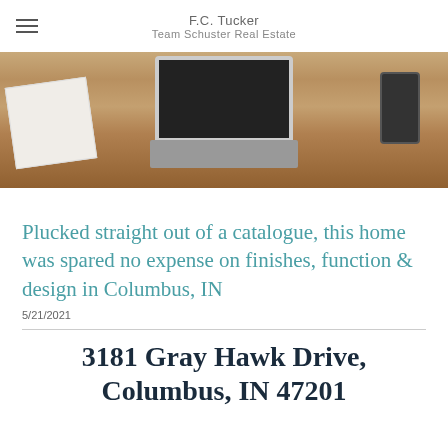F.C. Tucker
Team Schuster Real Estate
[Figure (photo): Overhead photo of a wooden desk with an open laptop, a smartphone, a notebook with pen, suggesting a real estate blog or website header image]
Plucked straight out of a catalogue, this home was spared no expense on finishes, function & design in Columbus, IN
5/21/2021
3181 Gray Hawk Drive, Columbus, IN 47201